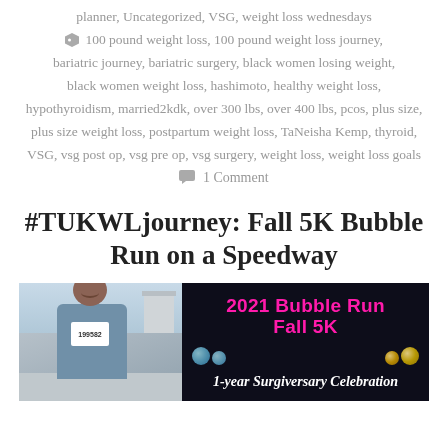planner, Uncategorized, VSG, weight loss wednesdays
100 pound weight loss, 100 pound weight loss journey, bariatric journey, bariatric surgery, black women losing weight, black women weight loss, hashimoto, healthy weight loss, hypothyroidism, married2kdk, over 300 lbs, over 400 lbs, pcos, plus size, plus size weight loss, postpartum weight loss, TaNeisha Kemp, thyroid, VSG, vsg post op, vsg pre op, vsg surgery, weight loss, weight loss goals
1 Comment
#TUKWLjourney: Fall 5K Bubble Run on a Speedway
[Figure (photo): Left: photo of a woman wearing a race bib number 199582 and a blue shirt, smiling outdoors. Right: dark promotional banner reading '2021 Bubble Run Fall 5K' in pink text with bubble graphics and '1-year Surgiversary Celebration' in white italic text.]